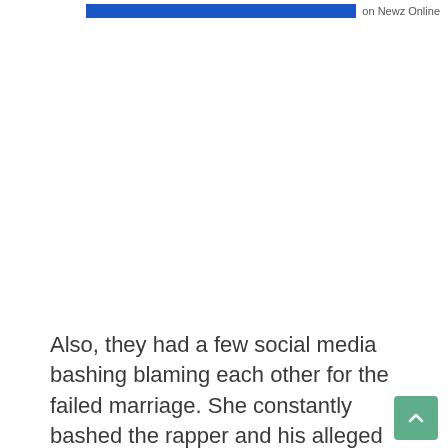on Newz Online
Also, they had a few social media bashing blaming each other for the failed marriage. She constantly bashed the rapper and his alleged girlfriend, Khloe Kardashian, on Twitter. After divorce, she with her ex-husband  French co-parented their son jointly.